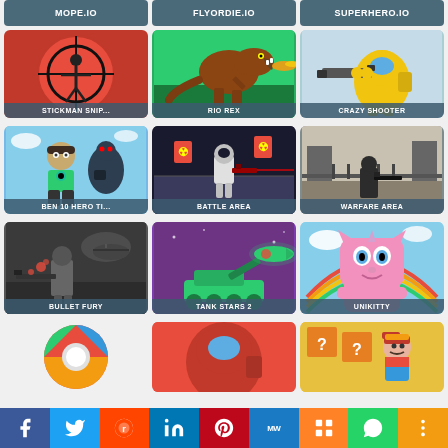[Figure (screenshot): Game thumbnails grid showing online games: MOPE.IO, FLYORDIE.IO, SUPERHERO.IO in top row; then STICKMAN SNIP..., RIO REX, CRAZY SHOOTER; BEN 10 HERO TI..., BATTLE AREA, WARFARE AREA; BULLET FURY, TANK STARS 2, UNIKITTY; plus 3 partial tiles at bottom. Social sharing bar at bottom with Facebook, Twitter, Reddit, LinkedIn, Pinterest, MW, Mix, WhatsApp, More buttons.]